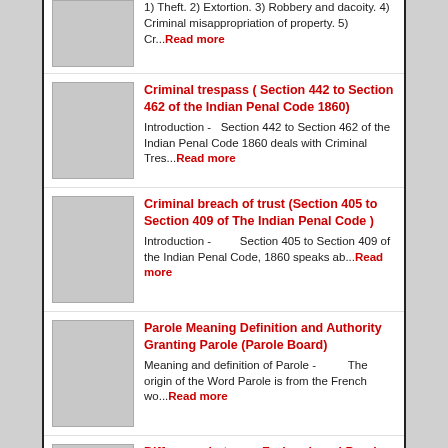1) Theft. 2) Extortion. 3) Robbery and dacoity. 4) Criminal misappropriation of property. 5) Cr...Read more
Criminal trespass ( Section 442 to Section 462 of the Indian Penal Code 1860)
Introduction -   Section 442 to Section 462 of the Indian Penal Code 1860 deals with Criminal Tres...Read more
Criminal breach of trust (Section 405 to Section 409 of The Indian Penal Code )
Introduction -         Section 405 to Section 409 of the Indian Penal Code, 1860 speaks ab...Read more
Parole Meaning Definition and Authority Granting Parole (Parole Board)
Meaning and definition of Parole -          The origin of the Word Parole is from the French wo...Read more
Difference between Furlough and Parole
Before we say the difference between Parole  and Furlough let's see what is Parole and Furlough ....Read more